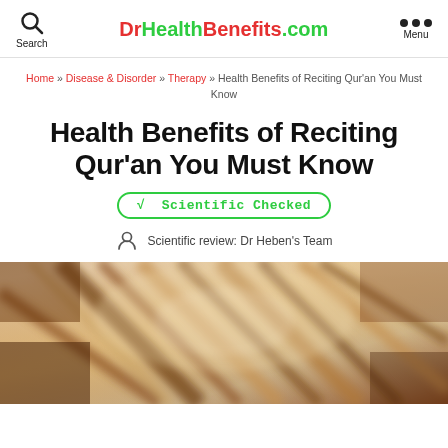DrHealthBenefits.com
Home » Disease & Disorder » Therapy » Health Benefits of Reciting Qur'an You Must Know
Health Benefits of Reciting Qur'an You Must Know
√ Scientific Checked
Scientific review: Dr Heben's Team
[Figure (photo): Blurred photo of what appears to be books or pages with warm golden-brown tones, suggesting aged manuscripts or Quran.]